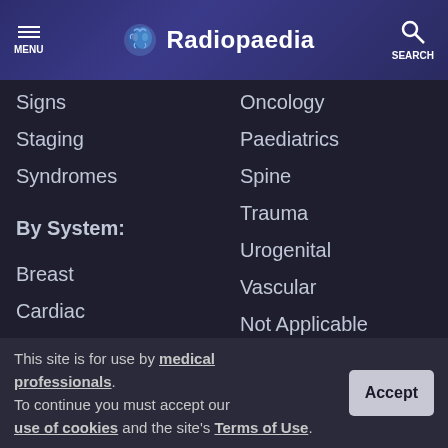Radiopaedia — MENU | SEARCH
Signs
Staging
Syndromes
By System:
Breast
Cardiac
Central Nervous System
Chest
Forensic
Oncology
Paediatrics
Spine
Trauma
Urogenital
Vascular
Not Applicable
Radiopaedia.org
This site is for use by medical professionals. To continue you must accept our use of cookies and the site's Terms of Use.